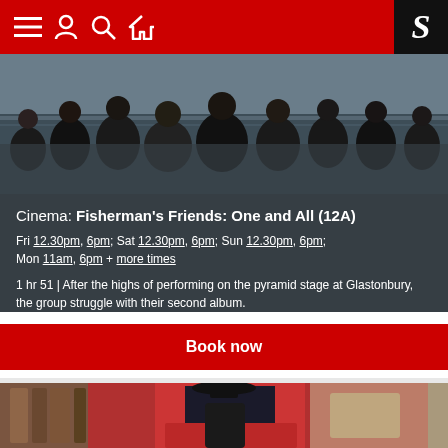Navigation bar with menu, account, search, home icons and S logo
[Figure (photo): Group of men standing outdoors near water, dressed in dark coats and caps]
Cinema: Fisherman's Friends: One and All (12A)
Fri 12.30pm, 6pm; Sat 12.30pm, 6pm; Sun 12.30pm, 6pm; Mon 11am, 6pm + more times
1 hr 51 | After the highs of performing on the pyramid stage at Glastonbury, the group struggle with their second album.
Book now
[Figure (photo): Person in black hat and coat standing near red door with arched window]